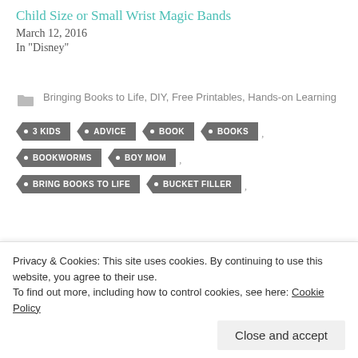Child Size or Small Wrist Magic Bands
March 12, 2016
In "Disney"
Bringing Books to Life, DIY, Free Printables, Hands-on Learning
3 KIDS
ADVICE
BOOK
BOOKS
BOOKWORMS
BOY MOM
BRING BOOKS TO LIFE
BUCKET FILLER
Privacy & Cookies: This site uses cookies. By continuing to use this website, you agree to their use.
To find out more, including how to control cookies, see here: Cookie Policy
CHILDRENSBOOKS
CRAFT
DIY MASKS